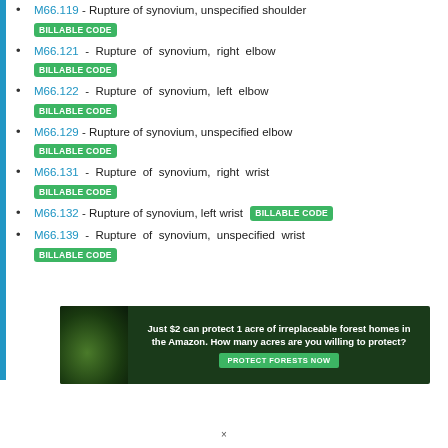M66.119 - Rupture of synovium, unspecified shoulder BILLABLE CODE
M66.121 - Rupture of synovium, right elbow BILLABLE CODE
M66.122 - Rupture of synovium, left elbow BILLABLE CODE
M66.129 - Rupture of synovium, unspecified elbow BILLABLE CODE
M66.131 - Rupture of synovium, right wrist BILLABLE CODE
M66.132 - Rupture of synovium, left wrist BILLABLE CODE
M66.139 - Rupture of synovium, unspecified wrist BILLABLE CODE
[Figure (photo): Advertisement banner: forest/Amazon conservation ad with orangutan image. Text: Just $2 can protect 1 acre of irreplaceable forest homes in the Amazon. How many acres are you willing to protect? PROTECT FORESTS NOW button.]